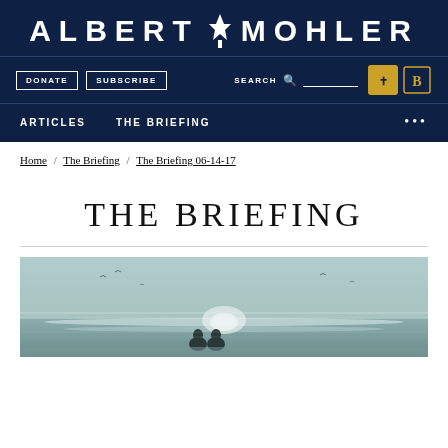ALBERT MOHLER
DONATE   SUBSCRIBE   SEARCH   ARTICLES   THE BRIEFING
Home / The Briefing / The Briefing 06-14-17
THE BRIEFING
[Figure (illustration): Seascape illustration with two silhouetted figures sitting on a beach, birds in the sky, muted teal and grey tones]